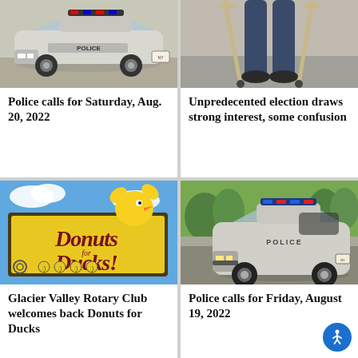[Figure (photo): Police car (silver/white Ford) photographed from front-side angle, parked outdoors in sunlight]
Police calls for Saturday, Aug. 20, 2022
[Figure (photo): Person standing on crutches, legs and feet visible from roughly knee down, on a sidewalk or pavement]
Unpredecented election draws strong interest, some confusion
[Figure (photo): Donuts for Ducks event sign with large yellow duck mascot peeking over the top, colorful yellow and maroon billboard]
Glacier Valley Rotary Club welcomes back Donuts for Ducks
[Figure (photo): Police car (silver Ford) parked on street in neighborhood setting, blue light bar on roof]
Police calls for Friday, August 19, 2022